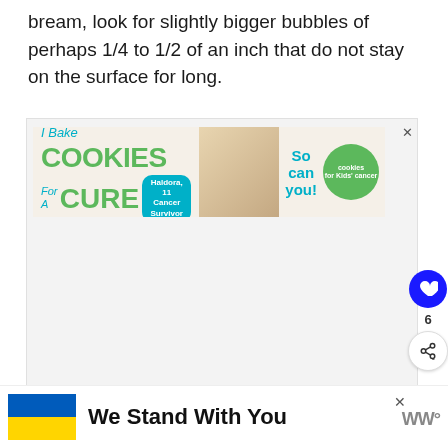bream, look for slightly bigger bubbles of perhaps 1/4 to 1/2 of an inch that do not stay on the surface for long.
[Figure (other): Advertisement banner: 'I Bake COOKIES For A CURE' with a photo of a girl and a green circle logo for cookies for Kids' cancer. Text reads 'Haldora, 11 Cancer Survivor' and 'So can you!']
[Figure (other): Advertisement banner at bottom: Ukraine flag (blue and yellow) with text 'We Stand With You' and WW logo. Has a close (x) button.]